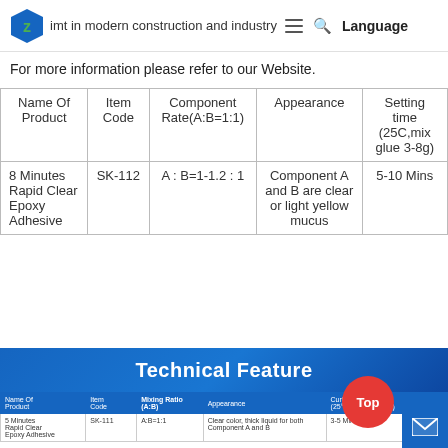important in modern construction and industry  Language
For more information please refer to our Website.
| Name Of Product | Item Code | Component Rate(A:B=1:1) | Appearance | Setting time (25C,mix glue 3-8g) |
| --- | --- | --- | --- | --- |
| 8 Minutes Rapid Clear Epoxy Adhesive | SK-112 | A : B=1-1.2 : 1 | Component A and B are clear or light yellow mucus | 5-10 Mins |
Technical Feature
| Name Of Product | Item Code | Mixing Ratio (A:B) | Appearance | Curing time (25°C mix glue 3-8g) |  |
| --- | --- | --- | --- | --- | --- |
| 5 Minutes Rapid Clear Epoxy Adhesive | SK-111 | A:B=1:1 | Clear color, thick liquid for both Component A and B | 3-5 Mins |  |